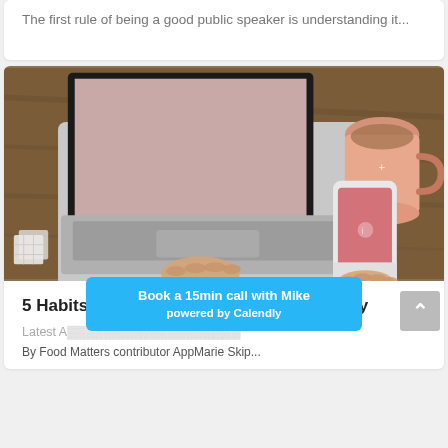The first rule of being a good public speaker is understanding it...
[Figure (photo): Overhead view of a person using a laptop on a wooden desk, with a pink coffee mug and a hand holding a smartphone with a pink screen visible.]
5 Habits to Use Technology More Mindfully
Latest A...
By Food Matters contributor AppMarie Skip...
Book a 15min call with Mike
powered by Calendly